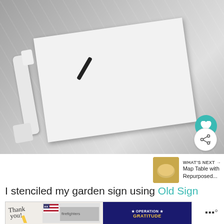[Figure (photo): A white-painted wooden tray or sign board with spindle legs, lying on a plastic-covered work surface. A black marker is visible. White paint project in progress.]
[Figure (other): WHAT'S NEXT arrow label with thumbnail image of a bowl (Map Table with Repurposed...) shown in a recommendation widget at bottom right]
I stenciled my garden sign using Old Sign
[Figure (other): Advertisement banner: Thank you! with Operation Gratitude logo showing firefighters]